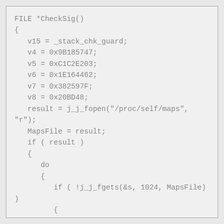FILE *CheckSig()
{
   v15 = _stack_chk_guard;
   v4 = 0x9B185747;
   v5 = 0xC1C2E203;
   v6 = 0x1E164462;
   v7 = 0x382597F;
   v8 = 0x20BD48;
   result = j_j_fopen("/proc/self/maps",
"r");
   MapsFile = result;
   if ( result )
   {
      do
      {
         if ( !j_j_fgets(&s, 1024, MapsFile)
)
         {
LABEL_8:
         j_j_fclose(MapsFile);
         result = 0;